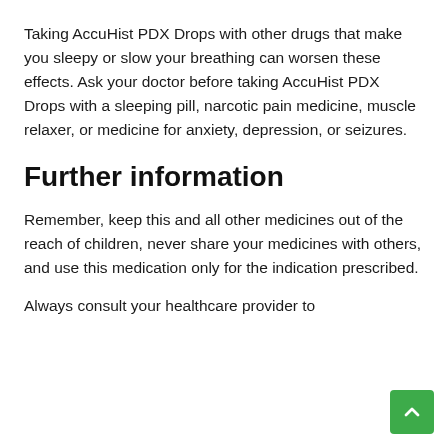Taking AccuHist PDX Drops with other drugs that make you sleepy or slow your breathing can worsen these effects. Ask your doctor before taking AccuHist PDX Drops with a sleeping pill, narcotic pain medicine, muscle relaxer, or medicine for anxiety, depression, or seizures.
Further information
Remember, keep this and all other medicines out of the reach of children, never share your medicines with others, and use this medication only for the indication prescribed.
Always consult your healthcare provider to